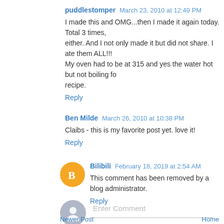puddlestomper  March 23, 2010 at 12:49 PM
I made this and OMG...then I made it again today. Total 3 times, either. And I not only made it but did not share. I ate them ALL!!! My oven had to be at 315 and yes the water hot but not boiling fo recipe.
Reply
Ben Milde  March 26, 2010 at 10:38 PM
Claibs - this is my favorite post yet. love it!
Reply
Bilibili  February 18, 2019 at 2:54 AM
This comment has been removed by a blog administrator.
Reply
Enter Comment
Newer Post
Home